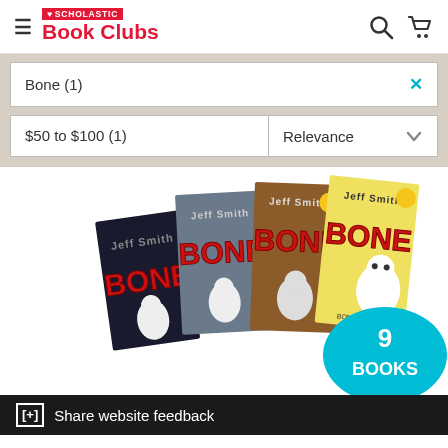SCHOLASTIC Book Clubs
Bone (1)
$50 to $100 (1)
Relevance
[Figure (photo): Multiple Bone comic book covers fanned out, showing 4 volumes with the word BONE in red dripping letters on each cover. A teal circle badge shows '9 BOOKS' in white text.]
[+] Share website feedback